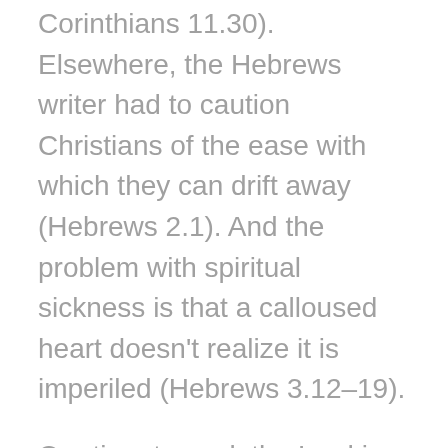weak, sick, and even asleep (dead – 1 Corinthians 11.30). Elsewhere, the Hebrews writer had to caution Christians of the ease with which they can drift away (Hebrews 2.1). And the problem with spiritual sickness is that a calloused heart doesn't realize it is imperiled (Hebrews 3.12–19).
Our time to seek the Lord is limited. Thus, God cautioned His covenant people of old to seek Him while He was available for them to find (Isaiah 55.6–7). And Jesus invites us to enter the New Covenant